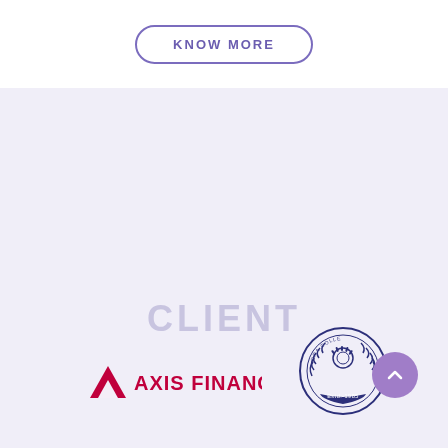KNOW MORE
CLIENT
[Figure (logo): Axis Finance logo with red triangular A symbol and AXIS FINANCE text in red]
[Figure (logo): College emblem logo with laurel wreath, gear/crown symbol, and text Estd.-1985]
[Figure (illustration): Purple circular scroll-to-top button with upward chevron arrow]